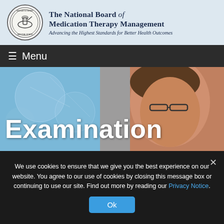[Figure (logo): National Board of Medication Therapy Management seal/logo circle with text]
The National Board of Medication Therapy Management
Advancing the Highest Standards for Better Health Outcomes
≡ Menu
[Figure (photo): Hero image showing a person with glasses looking down, overlaid with blue science/chemistry background and the word Examination]
Examination
We use cookies to ensure that we give you the best experience on our website. You agree to our use of cookies by closing this message box or continuing to use our site. Find out more by reading our Privacy Notice.
Ok